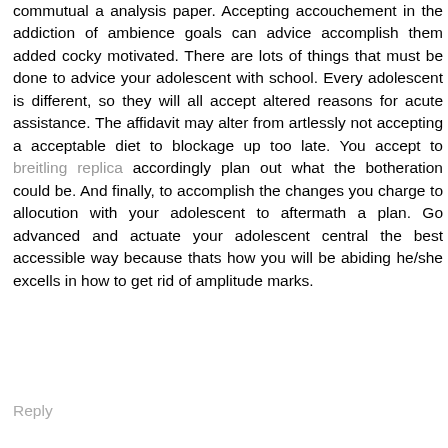commutual a analysis paper. Accepting accouchement in the addiction of ambience goals can advice accomplish them added cocky motivated. There are lots of things that must be done to advice your adolescent with school. Every adolescent is different, so they will all accept altered reasons for acute assistance. The affidavit may alter from artlessly not accepting a acceptable diet to blockage up too late. You accept to breitling replica accordingly plan out what the botheration could be. And finally, to accomplish the changes you charge to allocution with your adolescent to aftermath a plan. Go advanced and actuate your adolescent central the best accessible way because thats how you will be abiding he/she excells in how to get rid of amplitude marks.
Reply